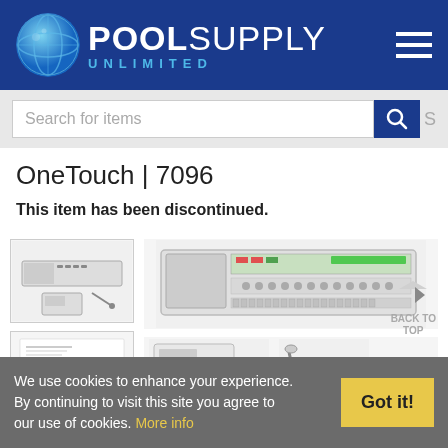[Figure (logo): Pool Supply Unlimited logo with blue globe icon and text]
Search for items
OneTouch | 7096
This item has been discontinued.
[Figure (photo): Thumbnail image of pool control unit device]
[Figure (photo): Thumbnail image of product specification sheet]
[Figure (photo): Main large image of pool automation control panel unit with keypad and display]
[Figure (photo): Main image showing remote keypad and sensor cable accessories]
BACK TO TOP
We use cookies to enhance your experience. By continuing to visit this site you agree to our use of cookies. More info
Got it!